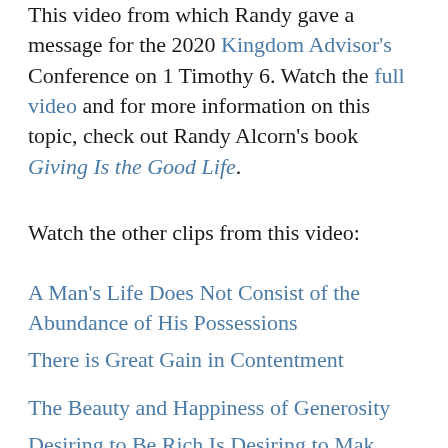This video from which Randy gave a message for the 2020 Kingdom Advisor's Conference on 1 Timothy 6. Watch the full video and for more information on this topic, check out Randy Alcorn's book Giving Is the Good Life.
Watch the other clips from this video:
A Man's Life Does Not Consist of the Abundance of His Possessions
There is Great Gain in Contentment
The Beauty and Happiness of Generosity
Desiring to Be Rich Is Desiring to Make...